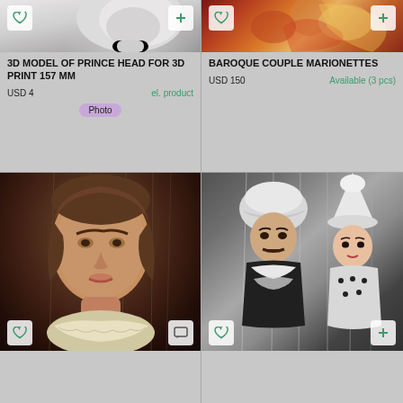[Figure (photo): Partial top view of a grey 3D model of a prince head, with heart and plus icon buttons overlay]
[Figure (photo): Baroque couple marionette photo with colourful costumes, with heart and plus icon buttons overlay]
3D MODEL OF PRINCE HEAD FOR 3D PRINT 157 MM
USD 4
el. product
Photo
BAROQUE COUPLE MARIONETTES
USD 150
Available (3 pcs)
[Figure (photo): Close-up photo of a marionette man puppet face with brown hair and realistic features, strings visible, wearing a white lace collar shirt, with heart and comment icon buttons]
[Figure (photo): Photo of baroque couple marionettes in black and white costumes with fur-trimmed hats, strings visible, with heart and plus icon buttons]